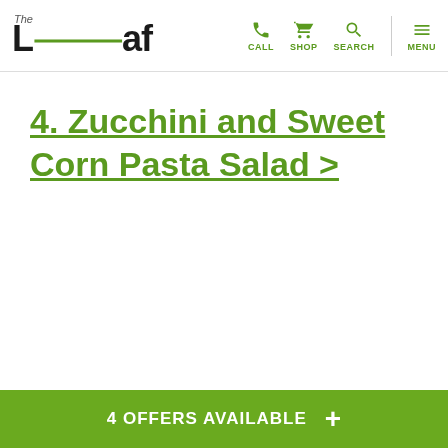The Leaf — CALL SHOP SEARCH MENU
(partial cut-off text from previous section)
4. Zucchini and Sweet Corn Pasta Salad >
4 OFFERS AVAILABLE +